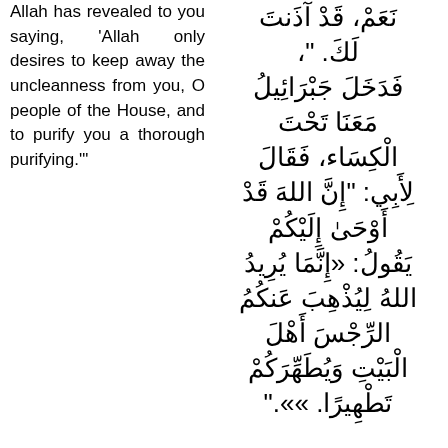Allah has revealed to you saying, 'Allah only desires to keep away the uncleanness from you, O people of the House, and to purify you a thorough purifying.'
Arabic text (right column): نعم، قد آذنتَ لك. فدخل جبرائيلُ معنا تحتَ الكساء، فقال لأبي: "إنَّ الله قد أوحى إليكم يقول: «إنَّما يريدُ اللهُ ليُذهبَ عنكم الرجسَ أهلَ البيتِ وَيُطَهِّرَكُم تطهيرًا.»".